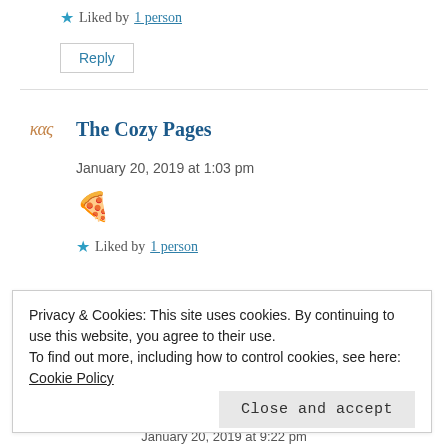★ Liked by 1 person
Reply
The Cozy Pages
January 20, 2019 at 1:03 pm
[Figure (illustration): Pizza slice emoji]
★ Liked by 1 person
Privacy & Cookies: This site uses cookies. By continuing to use this website, you agree to their use. To find out more, including how to control cookies, see here: Cookie Policy
Close and accept
January 20, 2019 at 9:22 pm